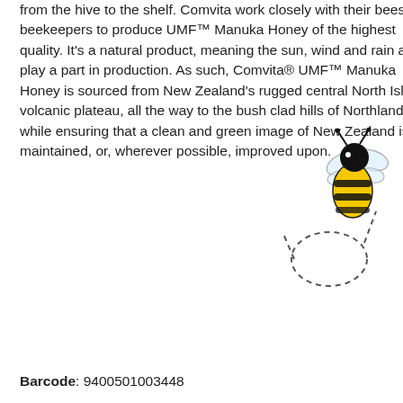from the hive to the shelf. Comvita work closely with their bees and beekeepers to produce UMF™ Manuka Honey of the highest quality. It's a natural product, meaning the sun, wind and rain all play a part in production. As such, Comvita® UMF™ Manuka Honey is sourced from New Zealand's rugged central North Island volcanic plateau, all the way to the bush clad hills of Northland, while ensuring that a clean and green image of New Zealand is maintained, or, wherever possible, improved upon.
[Figure (illustration): Cartoon bee flying along a dashed curved flight path. The bee has a black and yellow striped abdomen, black head, transparent wings, and antennae. A dashed oval loop is shown below and to the left of the bee indicating its flight trajectory.]
Barcode: 9400501003448